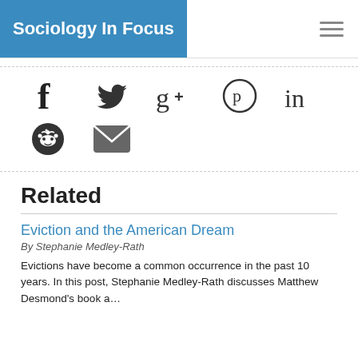Sociology In Focus
[Figure (infographic): Social media sharing icons: Facebook (f), Twitter (bird), Google+ (g+), Pinterest (p), LinkedIn (in), Reddit (alien circle), Email (envelope)]
Related
Eviction and the American Dream
By Stephanie Medley-Rath
Evictions have become a common occurrence in the past 10 years. In this post, Stephanie Medley-Rath discusses Matthew Desmond's book a...